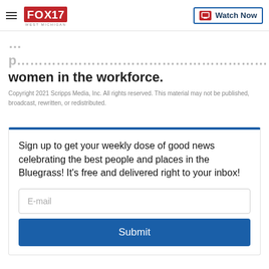FOX 17 West Michigan | Watch Now
women in the workforce.
Copyright 2021 Scripps Media, Inc. All rights reserved. This material may not be published, broadcast, rewritten, or redistributed.
Sign up to get your weekly dose of good news celebrating the best people and places in the Bluegrass! It's free and delivered right to your inbox!
E-mail
Submit